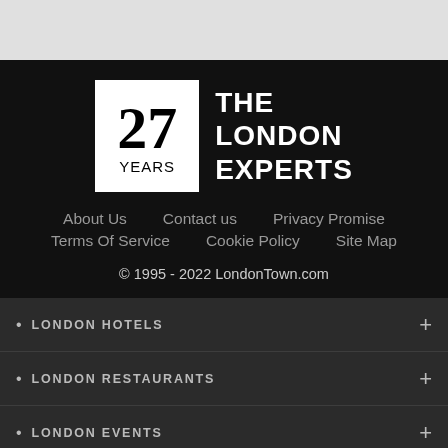[Figure (logo): 27 YEARS logo in white box with THE LONDON EXPERTS text beside it]
About Us   Contact us   Privacy Promise   Terms Of Service   Cookie Policy   Site Map
© 1995 - 2022 LondonTown.com
LONDON HOTELS
LONDON RESTAURANTS
LONDON EVENTS
LONDON ATTRACTIONS